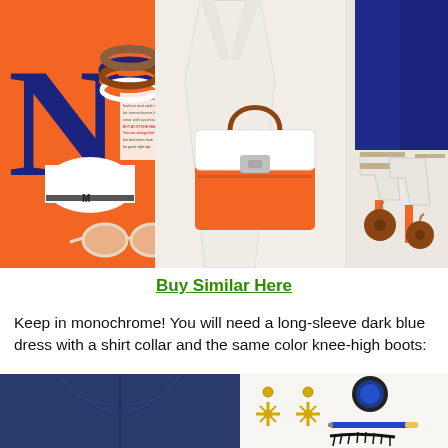[Figure (photo): Fashion collage showing orange and white accessories: a wide-brim orange hat with 'M' logo, white cat-eye sunglasses, colorful bracelets, an orange Fendi-style handbag, white structured blazer, navy blue skirt/jacket, cream heeled sandals with orange accents, and wooden earrings. Left panel has orange background with a large navy 'N' letter and a small magazine clipping.]
Buy Similar Here
Keep in monochrome! You will need a long-sleeve dark blue dress with a shirt collar and the same color knee-high boots:
[Figure (photo): Bottom left: dark navy blue dress with peter pan collar shown from behind/front. Bottom right: gold snowflake earrings, blue eyeshadow compact, blue eyeliner pencil, and false lashes on white background.]